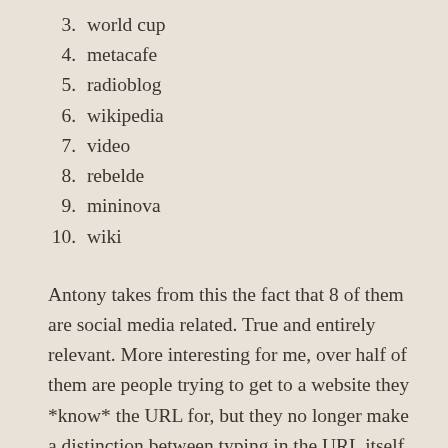3. world cup
4. metacafe
5. radioblog
6. wikipedia
7. video
8. rebelde
9. mininova
10. wiki
Antony takes from this the fact that 8 of them are social media related. True and entirely relevant. More interesting for me, over half of them are people trying to get to a website they *know* the URL for, but they no longer make a distinction between typing in the URL itself and typing a bit of it into Google.